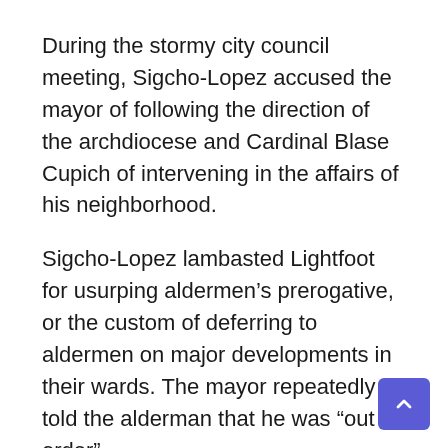During the stormy city council meeting, Sigcho-Lopez accused the mayor of following the direction of the archdiocese and Cardinal Blase Cupich of intervening in the affairs of his neighborhood.
Sigcho-Lopez lambasted Lightfoot for usurping aldermen’s prerogative, or the custom of deferring to aldermen on major developments in their wards. The mayor repeatedly told the alderman that he was “out of order”.
“In the 25th arrondissement, we have a serious travel problem, … the problem of corruption and developers taking over our community is a very real problem,” Sigcho-Lopez told council